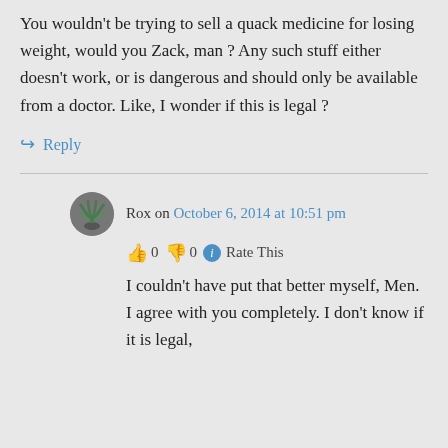You wouldn't be trying to sell a quack medicine for losing weight, would you Zack, man ? Any such stuff either doesn't work, or is dangerous and should only be available from a doctor. Like, I wonder if this is legal ?
↪ Reply
Rox on October 6, 2014 at 10:51 pm
👍 0 👎 0 ℹ Rate This
I couldn't have put that better myself, Men. I agree with you completely. I don't know if it is legal,